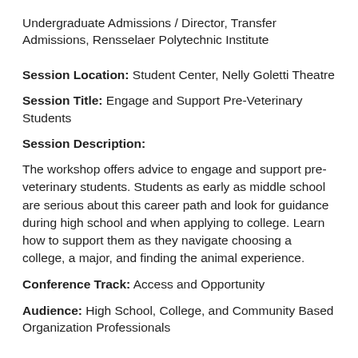Undergraduate Admissions / Director, Transfer Admissions, Rensselaer Polytechnic Institute
Session Location: Student Center, Nelly Goletti Theatre
Session Title: Engage and Support Pre-Veterinary Students
Session Description:
The workshop offers advice to engage and support pre-veterinary students. Students as early as middle school are serious about this career path and look for guidance during high school and when applying to college. Learn how to support them as they navigate choosing a college, a major, and finding the animal experience.
Conference Track: Access and Opportunity
Audience: High School, College, and Community Based Organization Professionals